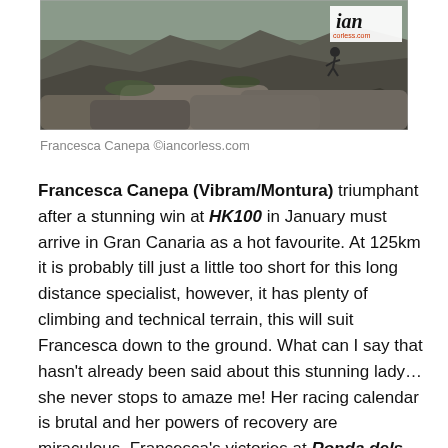[Figure (photo): Mountain trail runner (Francesca Canepa) on rocky terrain with mountains in background, iancorless.com watermark in top right]
Francesca Canepa ©iancorless.com
Francesca Canepa (Vibram/Montura) triumphant after a stunning win at HK100 in January must arrive in Gran Canaria as a hot favourite. At 125km it is probably till just a little too short for this long distance specialist, however, it has plenty of climbing and technical terrain, this will suit Francesca down to the ground. What can I say that hasn't already been said about this stunning lady… she never stops to amaze me! Her racing calendar is brutal and her powers of recovery are miraculous. Francesca's victories at Ronda dels Cims, Eiger Ultra Trail and Tor des Geants in 2013 were stand out results, however, these results were interspersed with top results at Ice Trail